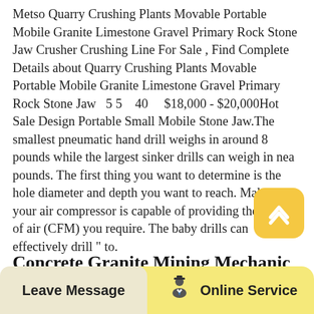Metso Quarry Crushing Plants Movable Portable Mobile Granite Limestone Gravel Primary Rock Stone Jaw Crusher Crushing Line For Sale , Find Complete Details about Quarry Crushing Plants Movable Portable Mobile Granite Limestone Gravel Primary Rock Stone Jaw   5 5    40      $18,000 - $20,000Hot Sale Design Portable Small Mobile Stone Jaw.The smallest pneumatic hand drill weighs in around 8 pounds while the largest sinker drills can weigh in nea pounds. The first thing you want to determine is the hole diameter and depth you want to reach. Make sure your air compressor is capable of providing the amount of air (CFM) you require. The baby drills can effectively drill " to.
Concrete Granite Mining Mechanic For
[Figure (other): Yellow rounded square scroll-to-top button with upward chevron icon]
Leave Message   [icon]   Online Service